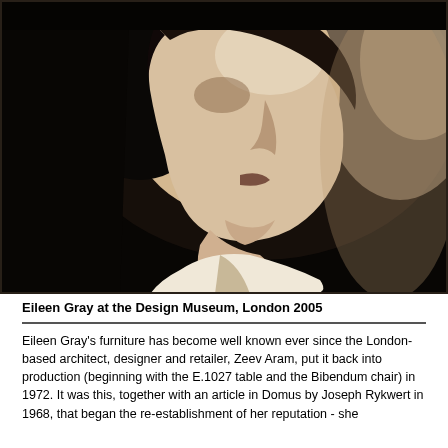[Figure (photo): Black and white / sepia vintage portrait photograph of Eileen Gray in profile, facing left, with dark background. The subject's face and neck are visible in dramatic side-lighting, wearing a light-colored shirt or jacket.]
Eileen Gray at the Design Museum, London 2005
Eileen Gray's furniture has become well known ever since the London-based architect, designer and retailer, Zeev Aram, put it back into production (beginning with the E.1027 table and the Bibendum chair) in 1972. It was this, together with an article in Domus by Joseph Rykwert in 1968, that began the re-establishment of her reputation - she